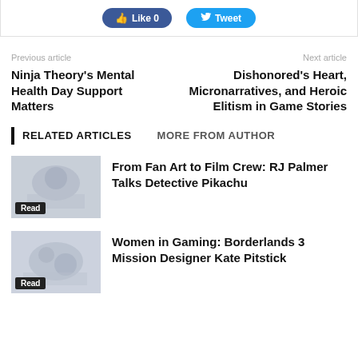[Figure (other): Social sharing buttons: Like 0 (Facebook) and Tweet (Twitter)]
Previous article
Next article
Ninja Theory's Mental Health Day Support Matters
Dishonored's Heart, Micronarratives, and Heroic Elitism in Game Stories
RELATED ARTICLES   MORE FROM AUTHOR
From Fan Art to Film Crew: RJ Palmer Talks Detective Pikachu
Women in Gaming: Borderlands 3 Mission Designer Kate Pitstick